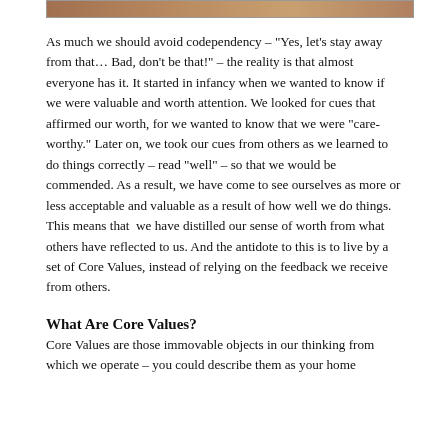[Figure (photo): Partial image strip at top of page, showing a cropped photograph (brown/warm tones visible)]
As much we should avoid codependency – "Yes, let's stay away from that… Bad, don't be that!" – the reality is that almost everyone has it. It started in infancy when we wanted to know if we were valuable and worth attention. We looked for cues that affirmed our worth, for we wanted to know that we were "care-worthy." Later on, we took our cues from others as we learned to do things correctly – read "well" – so that we would be commended. As a result, we have come to see ourselves as more or less acceptable and valuable as a result of how well we do things. This means that  we have distilled our sense of worth from what others have reflected to us. And the antidote to this is to live by a set of Core Values, instead of relying on the feedback we receive from others.
What Are Core Values?
Core Values are those immovable objects in our thinking from which we operate – you could describe them as your home